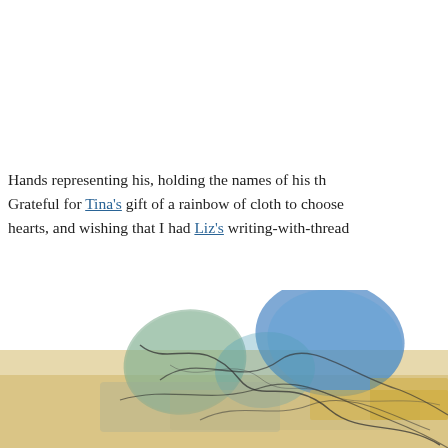Hands representing his, holding the names of his th... Grateful for Tina's gift of a rainbow of cloth to choose... hearts, and wishing that I had Liz's writing-with-thread...
[Figure (illustration): Watercolor illustration of abstract leaf or petal shapes in blue, teal, and green with loose dark line drawings over a warm yellow-beige background.]